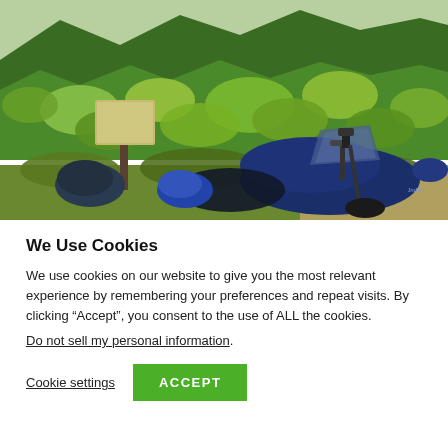[Figure (photo): A blue Indian motorcycle parked at a scenic overlook with a forested mountain background. Green trees cover the mountains. A helmet and information sign post are visible in the foreground.]
We Use Cookies
We use cookies on our website to give you the most relevant experience by remembering your preferences and repeat visits. By clicking “Accept”, you consent to the use of ALL the cookies.
Do not sell my personal information.
Cookie settings   ACCEPT